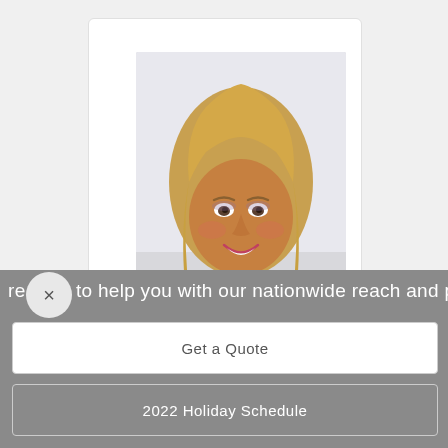[Figure (photo): Headshot photo of a smiling blonde woman with long straight hair, wearing a dark patterned top, photographed against a light background. Displayed inside a white card panel.]
re here to help you with our nationwide reach and pers
Get a Quote
2022 Holiday Schedule